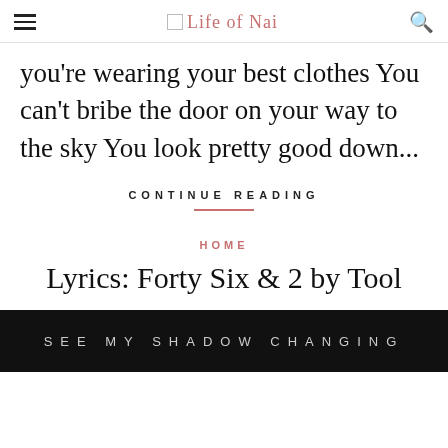Life of Nai
you're wearing your best clothes You can't bribe the door on your way to the sky You look pretty good down...
CONTINUE READING
HOME
Lyrics: Forty Six & 2 by Tool
[Figure (photo): Dark image banner with text 'SEE MY SHADOW CHANGING' in spaced capital letters on a black background]